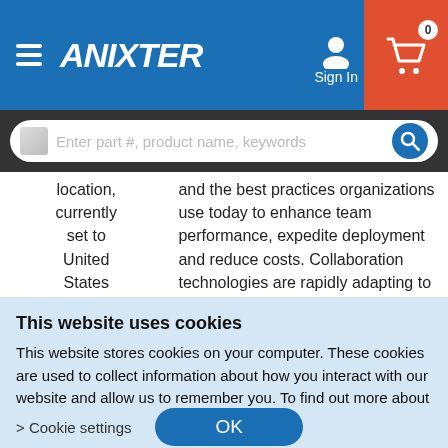[Figure (screenshot): Anixter website header with hamburger menu, logo, sign in button, and cart icon with 0 badge]
[Figure (screenshot): Search bar with placeholder text 'Enter part #, product name, keywords' on dark background]
location, currently set to United States
and the best practices organizations use today to enhance team performance, expedite deployment and reduce costs. Collaboration technologies are rapidly adapting to the expansion of hybrid work environments and the shift toward "as a Service" solutions.
August 11, 2022
11:00AM EST
This website uses cookies
This website stores cookies on your computer. These cookies are used to collect information about how you interact with our website and allow us to remember you. To find out more about our policy, see our Privacy and Cookie Policies.
> Cookie settings
OK